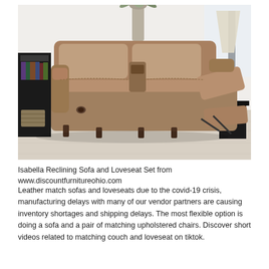[Figure (photo): A brown leather-look reclining loveseat/sofa with center console, one seat reclined showing footrest extended, photographed in a living room setting with bookshelf and lamp in background, light wood floor.]
Isabella Reclining Sofa and Loveseat Set from www.discountfurnitureohio.com
Leather match sofas and loveseats due to the covid-19 crisis, manufacturing delays with many of our vendor partners are causing inventory shortages and shipping delays. The most flexible option is doing a sofa and a pair of matching upholstered chairs. Discover short videos related to matching couch and loveseat on tiktok.